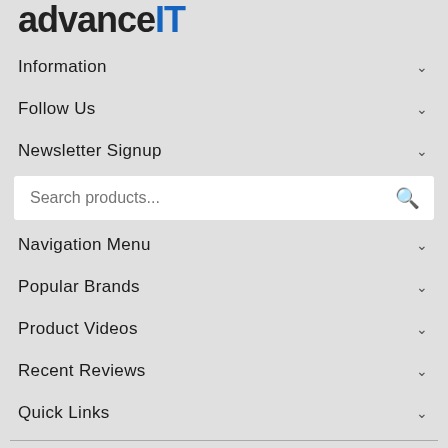[Figure (logo): advanceIT logo with dark and blue lettering]
Information
Follow Us
Newsletter Signup
Search products...
Navigation Menu
Popular Brands
Product Videos
Recent Reviews
Quick Links
Copyright © 2022 advanceIT